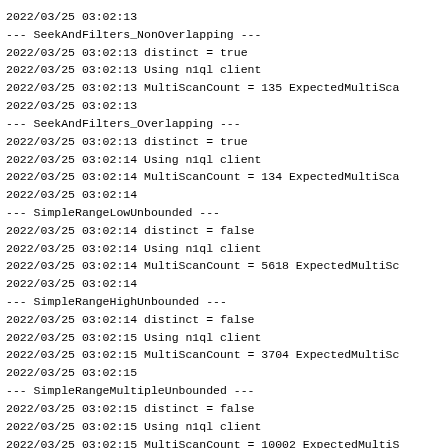2022/03/25 03:02:13
--- SeekAndFilters_NonOverlapping ---
2022/03/25 03:02:13 distinct = true
2022/03/25 03:02:13 Using n1ql client
2022/03/25 03:02:13 MultiScanCount = 135 ExpectedMultiSca
2022/03/25 03:02:13
--- SeekAndFilters_Overlapping ---
2022/03/25 03:02:13 distinct = true
2022/03/25 03:02:14 Using n1ql client
2022/03/25 03:02:14 MultiScanCount = 134 ExpectedMultiSca
2022/03/25 03:02:14
--- SimpleRangeLowUnbounded ---
2022/03/25 03:02:14 distinct = false
2022/03/25 03:02:14 Using n1ql client
2022/03/25 03:02:14 MultiScanCount = 5618 ExpectedMultiSc
2022/03/25 03:02:14
--- SimpleRangeHighUnbounded ---
2022/03/25 03:02:14 distinct = false
2022/03/25 03:02:15 Using n1ql client
2022/03/25 03:02:15 MultiScanCount = 3704 ExpectedMultiSc
2022/03/25 03:02:15
--- SimpleRangeMultipleUnbounded ---
2022/03/25 03:02:15 distinct = false
2022/03/25 03:02:15 Using n1ql client
2022/03/25 03:02:15 MultiScanCount = 10002 ExpectedMultiS
2022/03/25 03:02:15
--- FiltersWithUnbounded ---
2022/03/25 03:02:15 distinct = false
2022/03/25 03:02:16 Using n1ql client
2022/03/25 03:02:16 MultiScanCount = 3173 ExpectedMultiSc